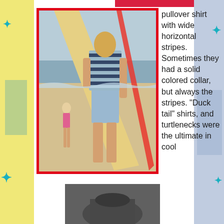[Figure (photo): Vintage beach photo with red border showing a young blond man in a striped t-shirt and light blue shorts carrying a surfboard on the beach, with a woman in a swimsuit in the background near the ocean.]
pullover shirt with wide horizontal stripes. Sometimes they had a solid colored collar, but always the stripes. "Duck tail" shirts, and turtlenecks were the ultimate in cool
[Figure (photo): Partial view of what appears to be a dark colored turtleneck or collared shirt, shown from below.]